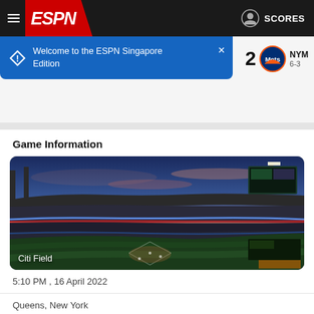ESPN SCORES
Welcome to the ESPN Singapore Edition
2 NYM 6-3
Game Information
[Figure (photo): Aerial view of Citi Field baseball stadium at dusk with colorful sky and packed crowd. Label: Citi Field]
5:10 PM , 16 April 2022
Queens, New York
Attendance: 27,035